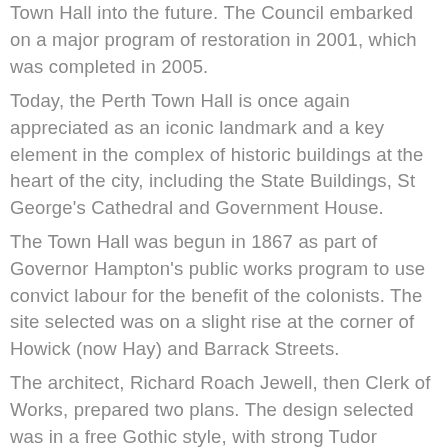Town Hall into the future. The Council embarked on a major program of restoration in 2001, which was completed in 2005.
Today, the Perth Town Hall is once again appreciated as an iconic landmark and a key element in the complex of historic buildings at the heart of the city, including the State Buildings, St George's Cathedral and Government House.
The Town Hall was begun in 1867 as part of Governor Hampton's public works program to use convict labour for the benefit of the colonists. The site selected was on a slight rise at the corner of Howick (now Hay) and Barrack Streets.
The architect, Richard Roach Jewell, then Clerk of Works, prepared two plans. The design selected was in a free Gothic style, with strong Tudor overtones. It